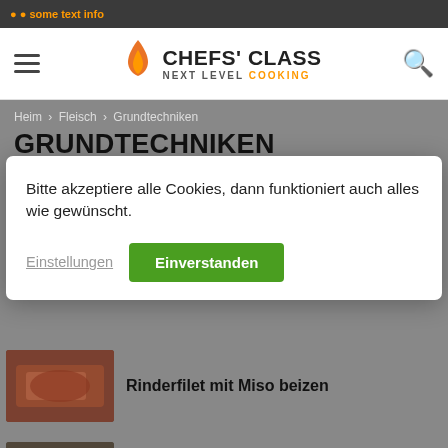CHEFS' CLASS NEXT LEVEL COOKING
Heim › Fleisch › Grundtechniken
GRUNDTECHNIKEN
Bitte akzeptiere alle Cookies, dann funktioniert auch alles wie gewünscht.
Einstellungen | Einverstanden
Rinderfilet mit Miso beizen
Lammfilets auslösen